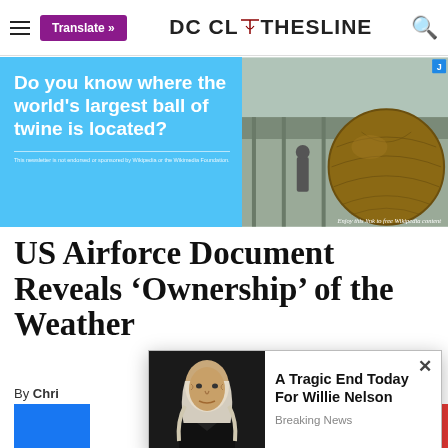DC CLOTHESLINE
[Figure (photo): Advertisement banner with cyan background showing text 'Do you know where the world's largest ball of twine is located?' and a photo of a large ball of twine. Wikipedia branding at bottom.]
US Airforce Document Reveals ‘Ownership’ of the Weather
By Chris
[Figure (photo): Popup notification showing a photo of Willie Nelson (elderly man in dark clothing) with headline 'A Tragic End Today For Willie Nelson' and tag 'Breaking News']